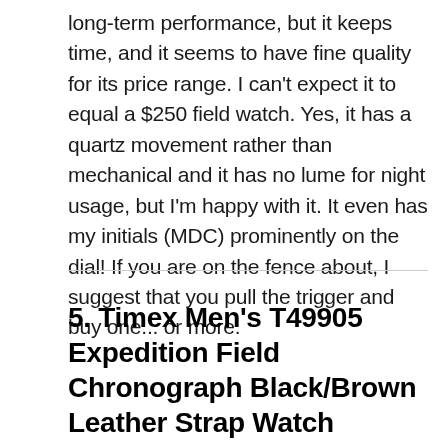long-term performance, but it keeps time, and it seems to have fine quality for its price range. I can't expect it to equal a $250 field watch. Yes, it has a quartz movement rather than mechanical and it has no lume for night usage, but I'm happy with it. It even has my initials (MDC) prominently on the dial! If you are on the fence about, I suggest that you pull the trigger and buy one... or more.
5. Timex Men's T49905 Expedition Field Chronograph Black/Brown Leather Strap Watch